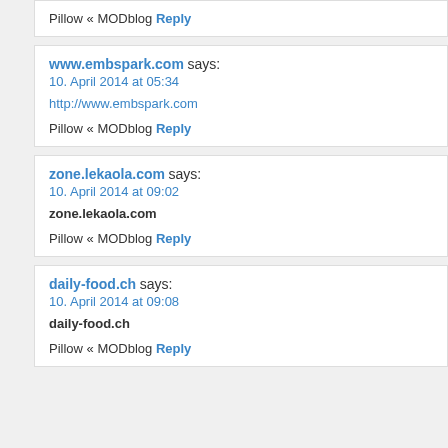Pillow « MODblog
Reply
www.embspark.com says:
10. April 2014 at 05:34
http://www.embspark.com
Pillow « MODblog
Reply
zone.lekaola.com says:
10. April 2014 at 09:02
zone.lekaola.com
Pillow « MODblog
Reply
daily-food.ch says:
10. April 2014 at 09:08
daily-food.ch
Pillow « MODblog
Reply